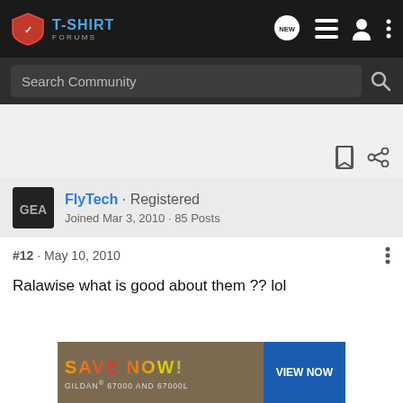T-SHIRT FORUMS
Search Community
FlyTech · Registered
Joined Mar 3, 2010 · 85 Posts
#12 · May 10, 2010
Ralawise what is good about them ?? lol
[Figure (screenshot): Advertisement banner: SAVE NOW! GILDAN® 67000 AND 67000L with VIEW NOW button]